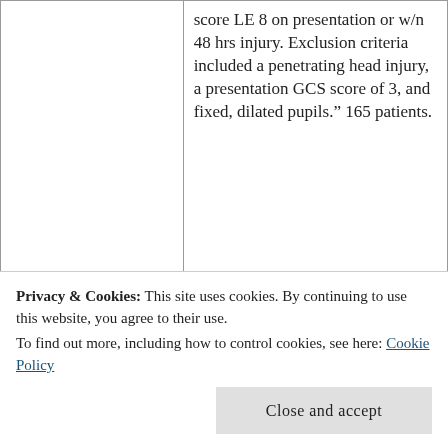|  | score LE 8 on presentation or w/n 48 hrs injury. Exclusion criteria included a penetrating head injury, a presentation GCS score of 3, and fixed, dilated pupils.” 165 patients. |
| Setting | Ben Taub General Hospital (Level I trauma center) in Houston |
Privacy & Cookies: This site uses cookies. By continuing to use this website, you agree to their use.
To find out more, including how to control cookies, see here: Cookie Policy